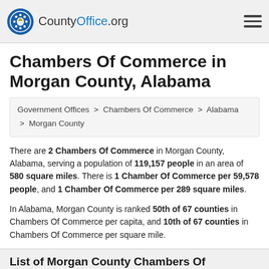CountyOffice.org
Chambers Of Commerce in Morgan County, Alabama
Government Offices > Chambers Of Commerce > Alabama > Morgan County
There are 2 Chambers Of Commerce in Morgan County, Alabama, serving a population of 119,157 people in an area of 580 square miles. There is 1 Chamber Of Commerce per 59,578 people, and 1 Chamber Of Commerce per 289 square miles.
In Alabama, Morgan County is ranked 50th of 67 counties in Chambers Of Commerce per capita, and 10th of 67 counties in Chambers Of Commerce per square mile.
List of Morgan County Chambers Of Commerce
Find Morgan County, Alabama chamber of commerce, and local sit...